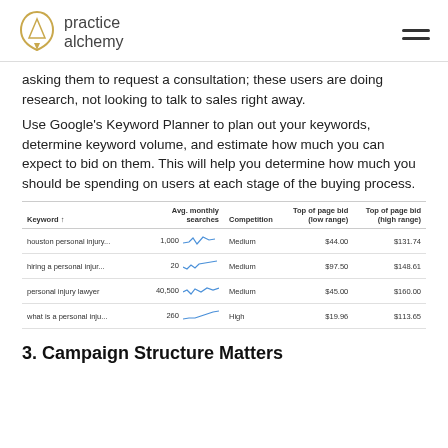practice alchemy
asking them to request a consultation; these users are doing research, not looking to talk to sales right away.
Use Google's Keyword Planner to plan out your keywords, determine keyword volume, and estimate how much you can expect to bid on them. This will help you determine how much you should be spending on users at each stage of the buying process.
| Keyword ↑ | Avg. monthly searches | Competition | Top of page bid (low range) | Top of page bid (high range) |
| --- | --- | --- | --- | --- |
| houston personal injury... | 1,000 | Medium | $44.00 | $131.74 |
| hiring a personal injur... | 20 | Medium | $97.50 | $148.61 |
| personal injury lawyer | 40,500 | Medium | $45.00 | $160.00 |
| what is a personal inju... | 260 | High | $19.96 | $113.65 |
3. Campaign Structure Matters